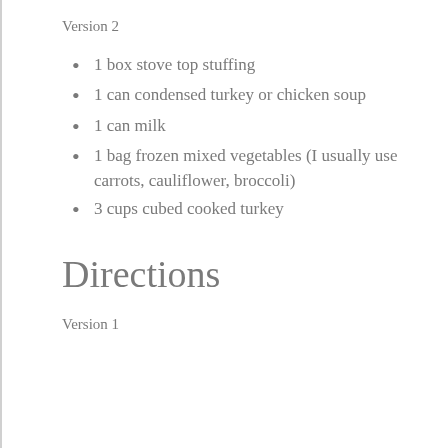Version 2
1 box stove top stuffing
1 can condensed turkey or chicken soup
1 can milk
1 bag frozen mixed vegetables (I usually use carrots, cauliflower, broccoli)
3 cups cubed cooked turkey
Directions
Version 1